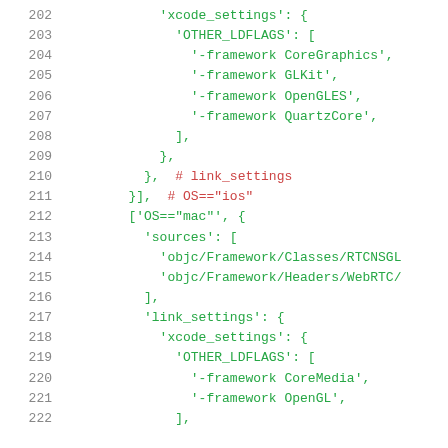Code listing lines 202-222 showing Python/GYP build configuration with xcode_settings, framework flags, and OS-specific source file entries